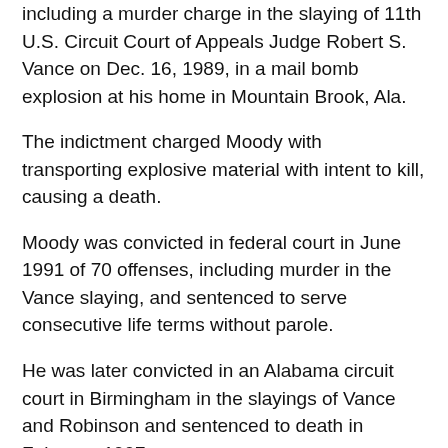including a murder charge in the slaying of 11th U.S. Circuit Court of Appeals Judge Robert S. Vance on Dec. 16, 1989, in a mail bomb explosion at his home in Mountain Brook, Ala.
The indictment charged Moody with transporting explosive material with intent to kill, causing a death.
Moody was convicted in federal court in June 1991 of 70 offenses, including murder in the Vance slaying, and sentenced to serve consecutive life terms without parole.
He was later convicted in an Alabama circuit court in Birmingham in the slayings of Vance and Robinson and sentenced to death in February 1997.
NAACP targeted
In late December 1989: pipe bombs intercepted at 11th Circuit headquarters in Atlanta, GA and the Jacksonville, FL